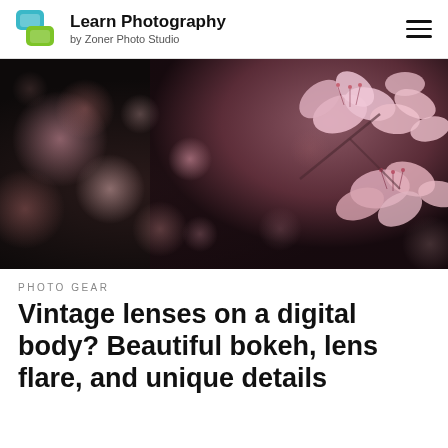Learn Photography by Zoner Photo Studio
[Figure (photo): Close-up macro photo of pink cherry blossoms with bokeh background. Left side shows blurred bokeh circles in dark tones, right side shows detailed pink flowers in focus.]
PHOTO GEAR
Vintage lenses on a digital body? Beautiful bokeh, lens flare, and unique details